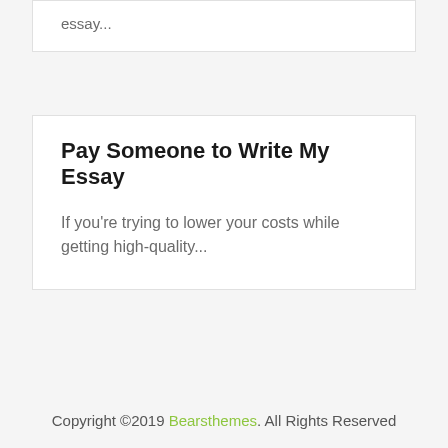essay...
Pay Someone to Write My Essay
If you're trying to lower your costs while getting high-quality...
Copyright ©2019 Bearsthemes. All Rights Reserved